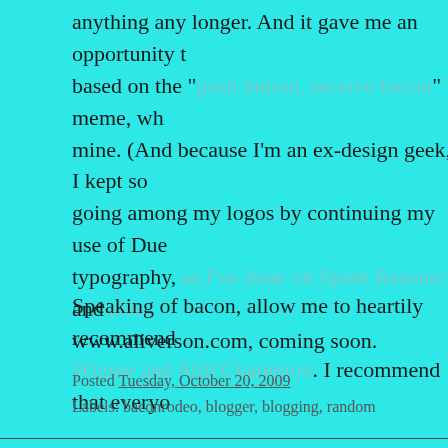anything any longer. And it gave me an opportunity to based on the "push button, receive bacon" meme, wh mine. (And because I'm an ex-design geek, I kept so going among my logos by continuing my use of Due typography, as I've done on Spam Resource and else www.aliverson.com, coming soon.
Speaking of bacon, allow me to heartily recommend Wiener and Still Champion. I recommend that everyo
Posted Tuesday, October 20, 2009
Labels: baconrodeo, blogger, blogging, random
No comments:
Post a Comment